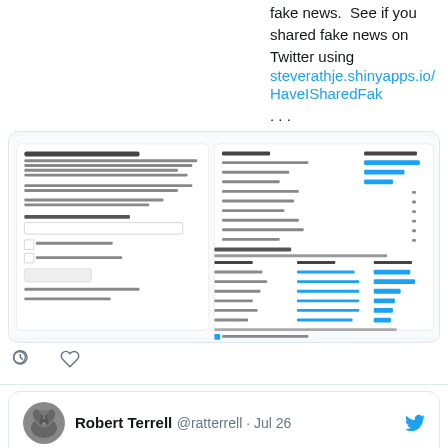fake news. See if you shared fake news on Twitter using steverathje.shinyapps.io/HaveISharedFak ...
[Figure (screenshot): Screenshot of a web app showing a dashboard titled 'Have I Shared Fake News?' with a form and bar charts showing categories of fake news shared on Twitter.]
Robert Terrell @ratterrell · Jul 26
Mé Féiner raterrell.com/2022/07/25/me-...
Robert Terrell @ratterrell · Jun 18
Hey @twotp are there captioned versions